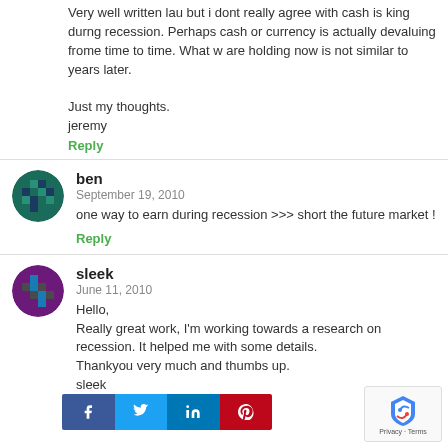Very well written lau but i dont really agree with cash is king durng recession. Perhaps cash or currency is actually devaluing frome time to time. What w are holding now is not similar to years later.

Just my thoughts.
jeremy
Reply
ben
September 19, 2010
one way to earn during recession >>> short the future market !
Reply
sleek
June 11, 2010
Hello,
Really great work, I'm working towards a research on recession. It helped me with some details.
Thankyou very much and thumbs up.
sleek
Reply
[Figure (infographic): Social share buttons: Facebook, Twitter, LinkedIn, Pinterest]
[Figure (other): reCAPTCHA widget with shield icon and Privacy - Terms text]